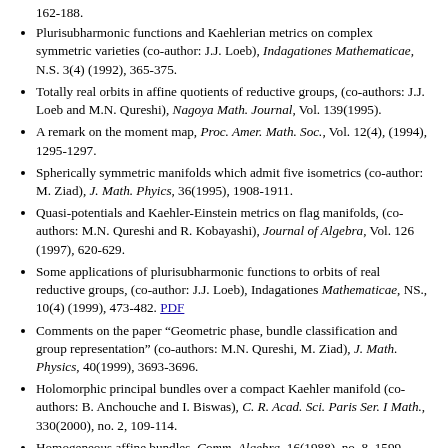162-188.
Plurisubharmonic functions and Kaehlerian metrics on complex symmetric varieties (co-author: J.J. Loeb), Indagationes Mathematicae, N.S. 3(4) (1992), 365-375.
Totally real orbits in affine quotients of reductive groups, (co-authors: J.J. Loeb and M.N. Qureshi), Nagoya Math. Journal, Vol. 139(1995).
A remark on the moment map, Proc. Amer. Math. Soc., Vol. 12(4), (1994), 1295-1297.
Spherically symmetric manifolds which admit five isometrics (co-author: M. Ziad), J. Math. Phyics, 36(1995), 1908-1911.
Quasi-potentials and Kaehler-Einstein metrics on flag manifolds, (co-authors: M.N. Qureshi and R. Kobayashi), Journal of Algebra, Vol. 126 (1997), 620-629.
Some applications of plurisubharmonic functions to orbits of real reductive groups, (co-author: J.J. Loeb), Indagationes Mathematicae, NS., 10(4) (1999), 473-482. PDF
Comments on the paper “Geometric phase, bundle classification and group representation” (co-authors: M.N. Qureshi, M. Ziad), J. Math. Physics, 40(1999), 3693-3696.
Holomorphic principal bundles over a compact Kaehler manifold (co-authors: B. Anchouche and I. Biswas), C. R. Acad. Sci. Paris Ser. I Math., 330(2000), no. 2, 109-114.
Homogeneous affine bundles, Comm. Algebra, 16(1988), no. 8, 1599-1603.